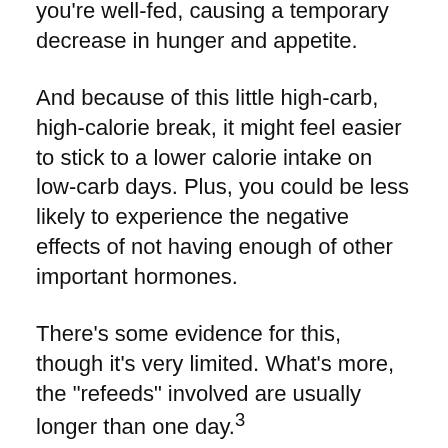you're well-fed, causing a temporary decrease in hunger and appetite.
And because of this little high-carb, high-calorie break, it might feel easier to stick to a lower calorie intake on low-carb days. Plus, you could be less likely to experience the negative effects of not having enough of other important hormones.
There’s some evidence for this, though it’s very limited. What’s more, the “refeeds” involved are usually longer than one day.3
Still, there may be very real psychological benefits.
When you’re generally eating lower-carb and